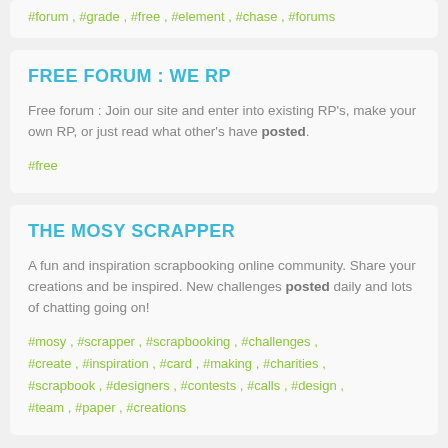#forum , #grade , #free , #element , #chase , #forums
FREE FORUM : WE RP
Free forum : Join our site and enter into existing RP's, make your own RP, or just read what other's have posted.
#free
THE MOSY SCRAPPER
A fun and inspiration scrapbooking online community. Share your creations and be inspired. New challenges posted daily and lots of chatting going on!
#mosy , #scrapper , #scrapbooking , #challenges , #create , #inspiration , #card , #making , #charities , #scrapbook , #designers , #contests , #calls , #design , #team , #paper , #creations